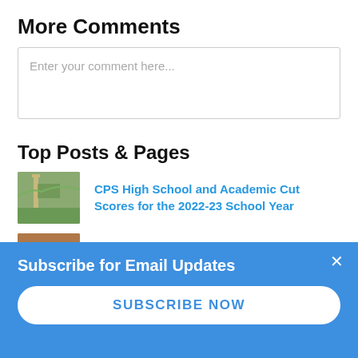More Comments
Enter your comment here...
Top Posts & Pages
CPS High School and Academic Cut Scores for the 2022-23 School Year
CPS High School Admissions: Cut-Off Scores
Subscribe for Email Updates
SUBSCRIBE NOW